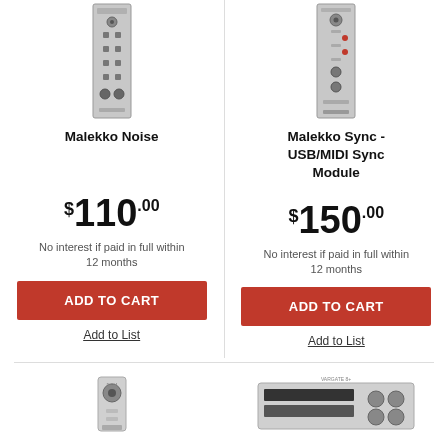[Figure (photo): Malekko Noise module - thin vertical synthesizer module with knobs and jacks]
[Figure (photo): Malekko Sync USB/MIDI Sync Module - thin vertical synthesizer module]
Malekko Noise
Malekko Sync - USB/MIDI Sync Module
$110.00
$150.00
No interest if paid in full within 12 months
No interest if paid in full within 12 months
ADD TO CART
ADD TO CART
Add to List
Add to List
[Figure (photo): Bottom left product image - small module]
[Figure (photo): Bottom right product image - VARGATE module rack unit]